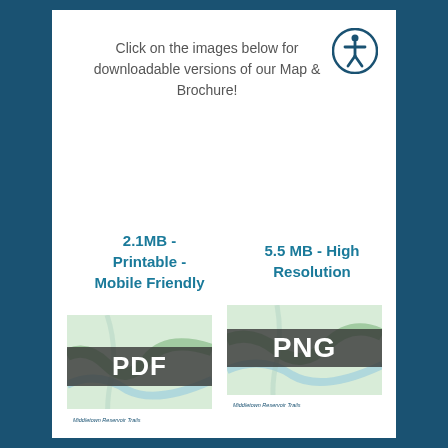Click on the images below for downloadable versions of our Map & Brochure!
2.1MB - Printable - Mobile Friendly
5.5 MB - High Resolution
[Figure (screenshot): Thumbnail of a trail map PDF with 'PDF' overlay label for Middletown Reservoir Trails]
[Figure (screenshot): Thumbnail of a trail map PNG with 'PNG' overlay label for Middletown Reservoir Trails]